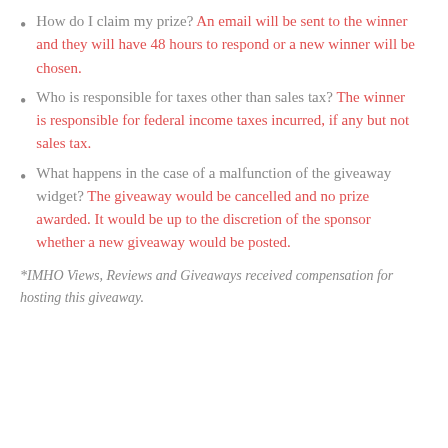How do I claim my prize? An email will be sent to the winner and they will have 48 hours to respond or a new winner will be chosen.
Who is responsible for taxes other than sales tax? The winner is responsible for federal income taxes incurred, if any but not sales tax.
What happens in the case of a malfunction of the giveaway widget? The giveaway would be cancelled and no prize awarded. It would be up to the discretion of the sponsor whether a new giveaway would be posted.
*IMHO Views, Reviews and Giveaways received compensation for hosting this giveaway.